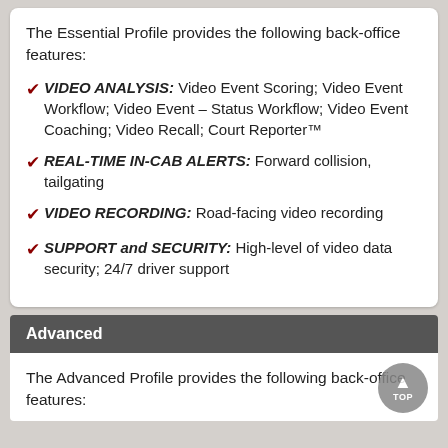The Essential Profile provides the following back-office features:
VIDEO ANALYSIS: Video Event Scoring; Video Event Workflow; Video Event – Status Workflow; Video Event Coaching; Video Recall; Court Reporter™
REAL-TIME IN-CAB ALERTS: Forward collision, tailgating
VIDEO RECORDING: Road-facing video recording
SUPPORT and SECURITY: High-level of video data security; 24/7 driver support
Advanced
The Advanced Profile provides the following back-office features: